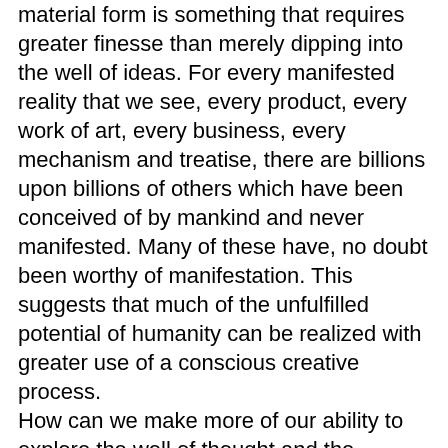material form is something that requires greater finesse than merely dipping into the well of ideas. For every manifested reality that we see, every product, every work of art, every business, every mechanism and treatise, there are billions upon billions of others which have been conceived of by mankind and never manifested. Many of these have, no doubt been worthy of manifestation. This suggests that much of the unfulfilled potential of humanity can be realized with greater use of a conscious creative process.
How can we make more of our ability to explore the well of thought and the reservoir of ideas? We must learn to take concepts from the reservoir and bring them into being. We must use this ability to shape a world more to our liking. After penetrating the reservoir of all ideas we must choose what is viable. We must penetrate the limitless possibilities of all of Creation leading to the conception of the brainchild. We must watch over, guide and nurture it until it is able to take its place in the manifested world as a healthy and positive addition to the ongoing works of creation.
The time must come when such abilities will be taught as a part of the basic curriculum in institutions of learning. This will pave the way for a world of possibilities which now only